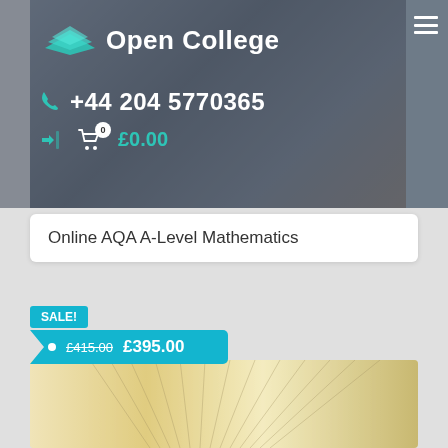[Figure (screenshot): Open College website header with logo, phone number +44 204 5770365, and cart showing £0.00, overlaid on a calculator background photo. Hamburger menu icon on right.]
Online AQA A-Level Mathematics
SALE!
£415.00  £395.00
[Figure (photo): Photo of an open book with fanned pages, showing cream/yellow pages from a side angle.]